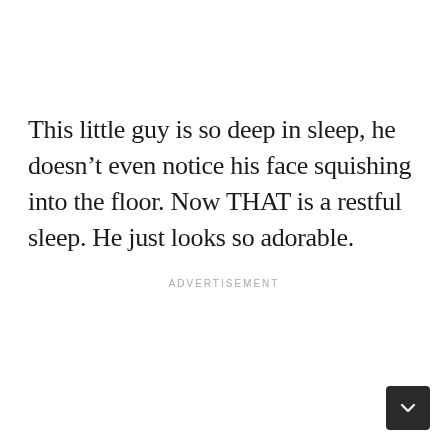This little guy is so deep in sleep, he doesn’t even notice his face squishing into the floor. Now THAT is a restful sleep. He just looks so adorable.
ADVERTISEMENT